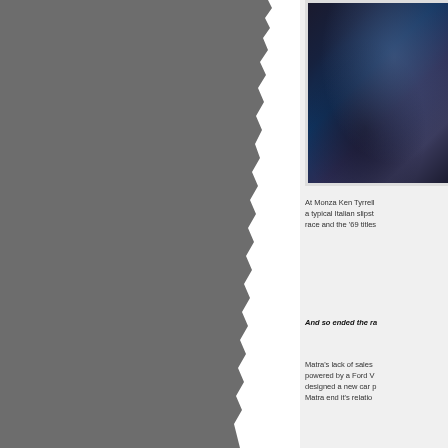[Figure (photo): Close-up photo of a dark-colored racing car, showing curved bodywork and cockpit area, dark blue/black tones]
At Monza Ken Tyrrell ... a typical Italian slipst... race and the '69 titles...
And so ended the ra...
Matra's lack of sales ... powered by a Ford V... designed a new car p... Matra end it's relatio...